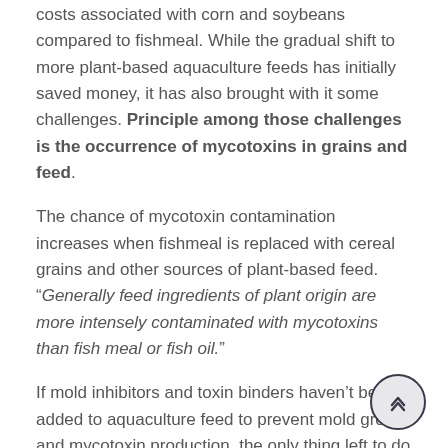costs associated with corn and soybeans compared to fishmeal. While the gradual shift to more plant-based aquaculture feeds has initially saved money, it has also brought with it some challenges. Principle among those challenges is the occurrence of mycotoxins in grains and feed.
The chance of mycotoxin contamination increases when fishmeal is replaced with cereal grains and other sources of plant-based feed. “Generally feed ingredients of plant origin are more intensely contaminated with mycotoxins than fish meal or fish oil.”
If mold inhibitors and toxin binders haven’t been added to aquaculture feed to prevent mold growth and mycotoxin production, the only thing left to do is look for the signs of mycotoxin poisoning: